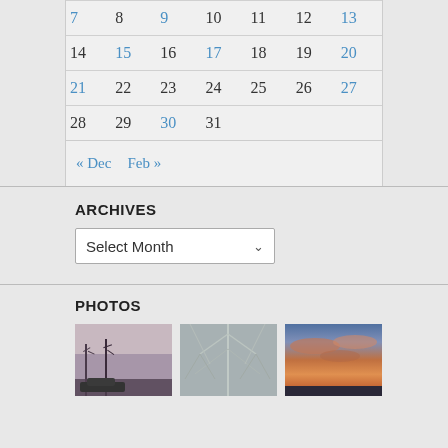| Sun | Mon | Tue | Wed | Thu | Fri | Sat |
| --- | --- | --- | --- | --- | --- | --- |
| 7 | 8 | 9 | 10 | 11 | 12 | 13 |
| 14 | 15 | 16 | 17 | 18 | 19 | 20 |
| 21 | 22 | 23 | 24 | 25 | 26 | 27 |
| 28 | 29 | 30 | 31 |  |  |  |
« Dec  Feb »
ARCHIVES
Select Month
PHOTOS
[Figure (photo): Winter scene with bare trees and muted purple-grey sky]
[Figure (photo): Ice-covered tree branches close-up in grey tones]
[Figure (photo): Colorful sunset with orange and purple clouds]